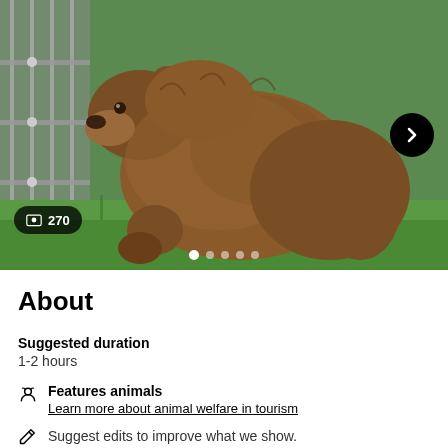[Figure (photo): A large brown bear sitting on green grass next to a metal fence/enclosure, viewed from the side. The bear is facing left. A navigation arrow button is visible on the right side of the photo. An image count badge showing a photo icon and '270' is at the bottom left. Carousel dots appear at the bottom center.]
About
Suggested duration
1-2 hours
Features animals
Learn more about animal welfare in tourism
Suggest edits to improve what we show.